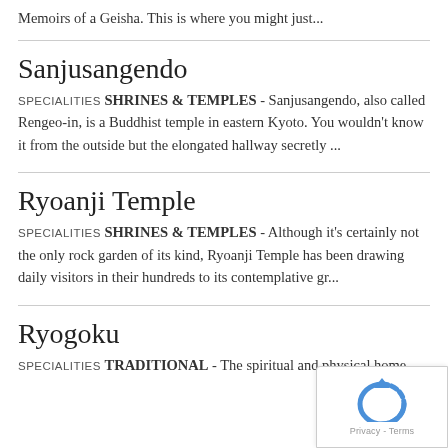Memoirs of a Geisha. This is where you might just...
Sanjusangendo
SPECIALITIES SHRINES & TEMPLES - Sanjusangendo, also called Rengeo-in, is a Buddhist temple in eastern Kyoto. You wouldn't know it from the outside but the elongated hallway secretly ...
Ryoanji Temple
SPECIALITIES SHRINES & TEMPLES - Although it's certainly not the only rock garden of its kind, Ryoanji Temple has been drawing daily visitors in their hundreds to its contemplative gr...
Ryogoku
SPECIALITIES TRADITIONAL - The spiritual and physical home